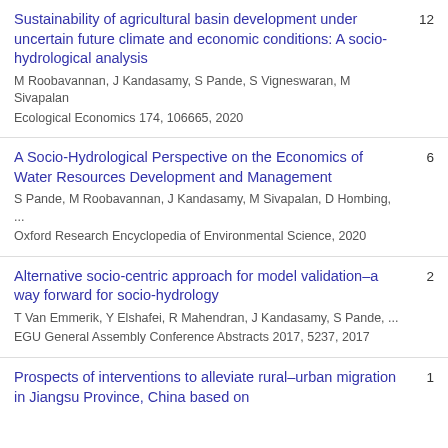Sustainability of agricultural basin development under uncertain future climate and economic conditions: A socio-hydrological analysis
M Roobavannan, J Kandasamy, S Pande, S Vigneswaran, M Sivapalan
Ecological Economics 174, 106665, 2020
12
A Socio-Hydrological Perspective on the Economics of Water Resources Development and Management
S Pande, M Roobavannan, J Kandasamy, M Sivapalan, D Hombing, ...
Oxford Research Encyclopedia of Environmental Science, 2020
6
Alternative socio-centric approach for model validation–a way forward for socio-hydrology
T Van Emmerik, Y Elshafei, R Mahendran, J Kandasamy, S Pande, ...
EGU General Assembly Conference Abstracts 2017, 5237, 2017
2
Prospects of interventions to alleviate rural–urban migration in Jiangsu Province, China based on ...
1